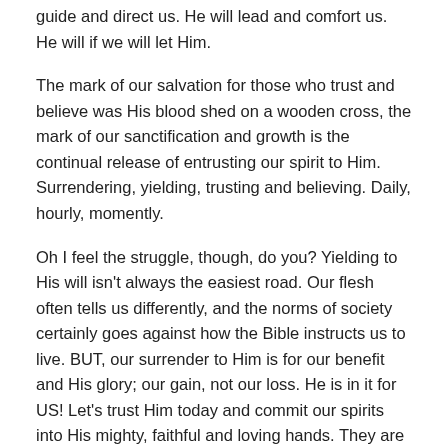guide and direct us. He will lead and comfort us. He will if we will let Him.
The mark of our salvation for those who trust and believe was His blood shed on a wooden cross, the mark of our sanctification and growth is the continual release of entrusting our spirit to Him.  Surrendering, yielding, trusting and believing.  Daily, hourly, momently.
Oh I feel the struggle, though, do you?  Yielding to His will isn't always the easiest road.  Our flesh often tells us differently, and the norms of society certainly goes against how the Bible instructs us to live.  BUT, our surrender to Him is for our benefit and His glory; our gain, not our loss.  He is in it for US!  Let's trust Him today and commit our spirits into His mighty, faithful and loving hands.  They are big enough for all of us, thank you, Jesus!